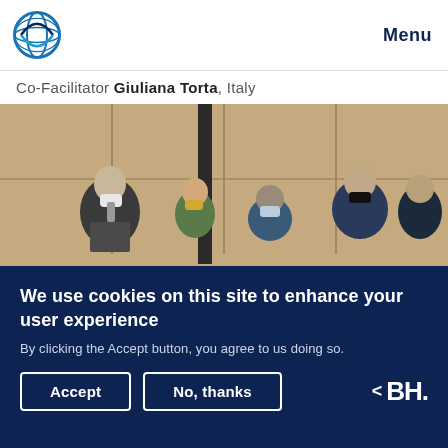Menu
Co-Facilitator Giuliana Torta, Italy
[Figure (photo): People seated in a conference room wearing face masks, viewed from a slightly elevated angle against a wooden panel wall background.]
We use cookies on this site to enhance your user experience
By clicking the Accept button, you agree to us doing so.
Accept   No, thanks